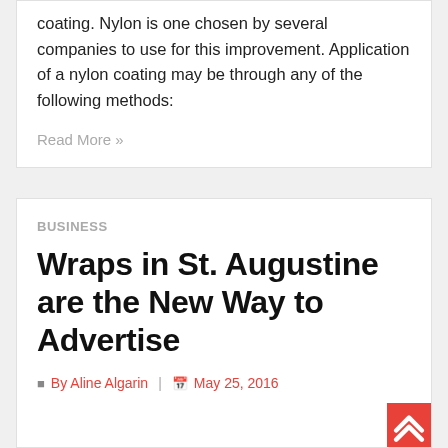coating. Nylon is one chosen by several companies to use for this improvement. Application of a nylon coating may be through any of the following methods:
Read More »
Business
Wraps in St. Augustine are the New Way to Advertise
By Aline Algarin  |  May 25, 2016